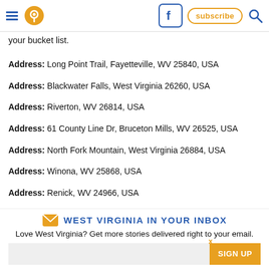Navigation header with hamburger menu, location pin icon, Facebook button, Subscribe button, and search icon
your bucket list.
Address: Long Point Trail, Fayetteville, WV 25840, USA
Address: Blackwater Falls, West Virginia 26260, USA
Address: Riverton, WV 26814, USA
Address: 61 County Line Dr, Bruceton Mills, WV 26525, USA
Address: North Fork Mountain, West Virginia 26884, USA
Address: Winona, WV 25868, USA
Address: Renick, WV 24966, USA
WEST VIRGINIA IN YOUR INBOX
Love West Virginia? Get more stories delivered right to your email.